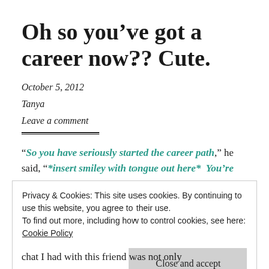Oh so you’ve got a career now?? Cute.
October 5, 2012
Tanya
Leave a comment
“So you have seriously started the career path,” he said, “*insert smiley with tongue out here* You’re one
Privacy & Cookies: This site uses cookies. By continuing to use this website, you agree to their use.
To find out more, including how to control cookies, see here:
Cookie Policy
Close and accept
chat I had with this friend was not only